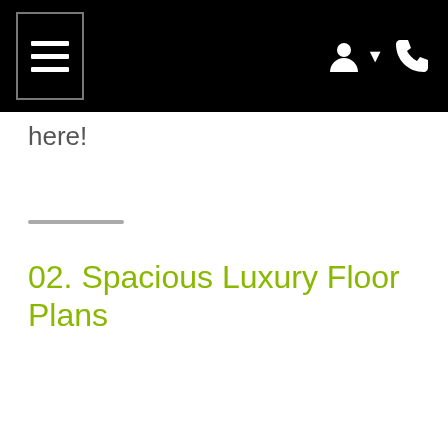Navigation bar with menu and icons
here!
02. Spacious Luxury Floor Plans